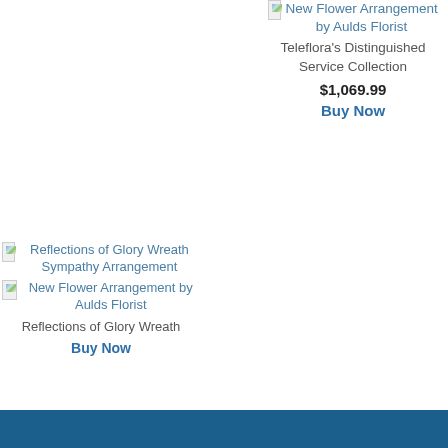[Figure (other): Broken image placeholder for New Flower Arrangement by Aulds Florist (right product, top)]
New Flower Arrangement by Aulds Florist
Teleflora's Distinguished Service Collection
$1,069.99
Buy Now
[Figure (other): Broken image placeholder for Reflections of Glory Wreath Sympathy Arrangement (left product)]
Reflections of Glory Wreath Sympathy Arrangement
[Figure (other): Broken image placeholder for New Flower Arrangement by Aulds Florist (left product, second image)]
New Flower Arrangement by Aulds Florist
Reflections of Glory Wreath
Buy Now